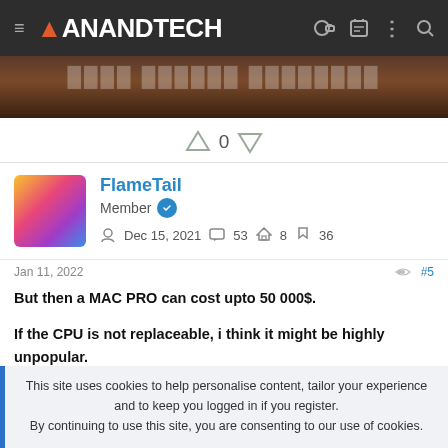AnandTech
[Figure (photo): Partial image strip showing brown/wooden background with partially visible text]
0
FlameTail
Member
Dec 15, 2021  53  8  36
Jan 11, 2022  #5
But then a MAC PRO can cost upto 50 000$.
If the CPU is not replaceable, i think it might be highly unpopular.
This site uses cookies to help personalise content, tailor your experience and to keep you logged in if you register.
By continuing to use this site, you are consenting to our use of cookies.